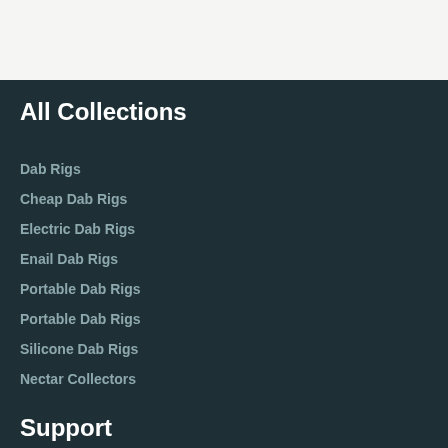All Collections
Dab Rigs
Cheap Dab Rigs
Electric Dab Rigs
Enail Dab Rigs
Portable Dab Rigs
Portable Dab Rigs
Silicone Dab Rigs
Nectar Collectors
Support